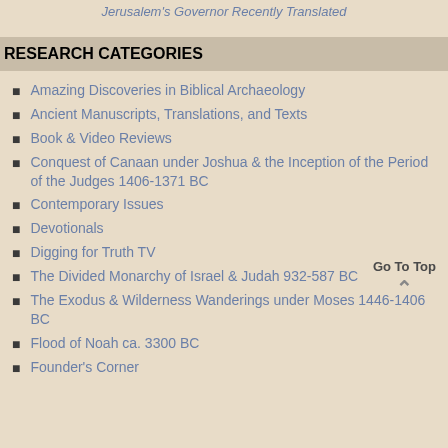Jerusalem's Governor Recently Translated
RESEARCH CATEGORIES
Amazing Discoveries in Biblical Archaeology
Ancient Manuscripts, Translations, and Texts
Book & Video Reviews
Conquest of Canaan under Joshua & the Inception of the Period of the Judges 1406-1371 BC
Contemporary Issues
Devotionals
Digging for Truth TV
The Divided Monarchy of Israel & Judah 932-587 BC
The Exodus & Wilderness Wanderings under Moses 1446-1406 BC
Flood of Noah ca. 3300 BC
Founder's Corner